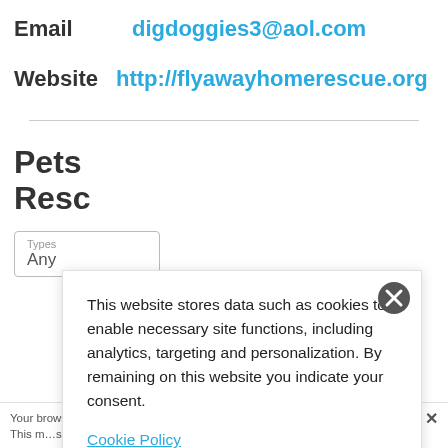Email   digdoggies3@aol.com
Website   http://flyawayhomerescue.org
Pets
Rescu
Types
Any
This website stores data such as cookies to enable necessary site functions, including analytics, targeting and personalization. By remaining on this website you indicate your consent.
Cookie Policy
Your browser settings d... AdRoll to use cross-site... by clicking here. This m...ssage only appears once.